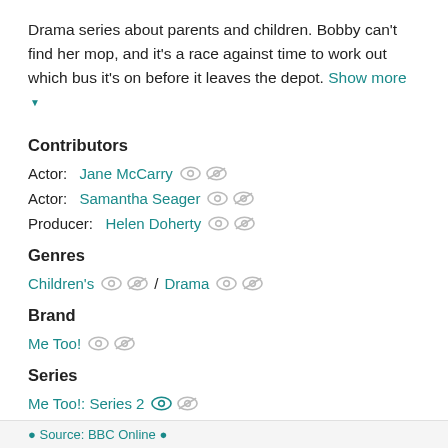Drama series about parents and children. Bobby can't find her mop, and it's a race against time to work out which bus it's on before it leaves the depot. Show more ▼
Contributors
Actor: Jane McCarry
Actor: Samantha Seager
Producer: Helen Doherty
Genres
Children's / Drama
Brand
Me Too!
Series
Me Too!: Series 2